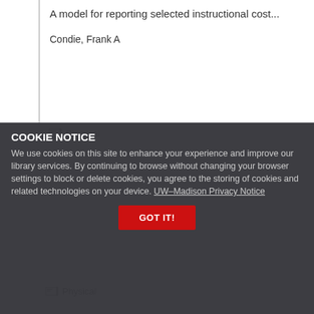A model for reporting selected instructional cost...
Condie, Frank A
Physical
COOKIE NOTICE
We use cookies on this site to enhance your experience and improve our library services. By continuing to browse without changing your browser settings to block or delete cookies, you agree to the storing of cookies and related technologies on your device. UW–Madison Privacy Notice
GOT IT!
Physical